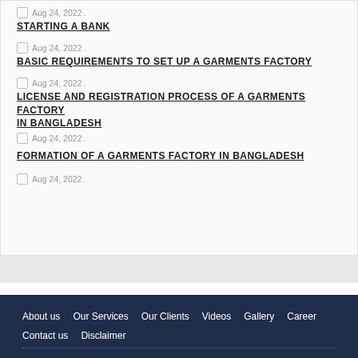Aug 24, 2022 .
STARTING A BANK
Aug 24, 2022 .
BASIC REQUIREMENTS TO SET UP A GARMENTS FACTORY
Aug 24, 2022 .
LICENSE AND REGISTRATION PROCESS OF A GARMENTS FACTORY IN BANGLADESH
Aug 24, 2022 .
FORMATION OF A GARMENTS FACTORY IN BANGLADESH
Aug 24, 2022 .
About us  Our Services  Our Clients  Videos  Gallery  Career  Contact us  Disclaimer